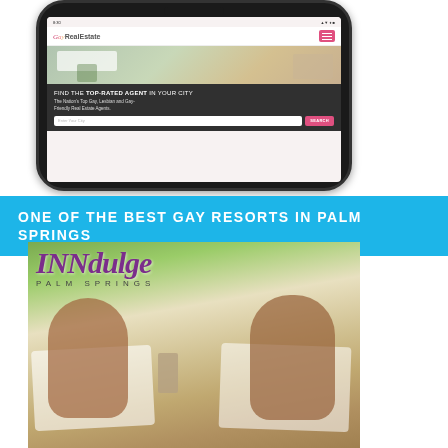[Figure (screenshot): Smartphone displaying the GayRealEstate.com website with headline 'FIND THE TOP-RATED AGENT IN YOUR CITY – The Nation's Top Gay, Lesbian and Gay-Friendly Real Estate Agents.' with a city search bar and pink SEARCH button.]
ONE OF THE BEST GAY RESORTS IN PALM SPRINGS
[Figure (photo): INNdulge Palm Springs resort advertisement image showing two men sunbathing on lounge chairs, holding hands, with the INNdulge PALM SPRINGS logo overlaid in purple italic text.]